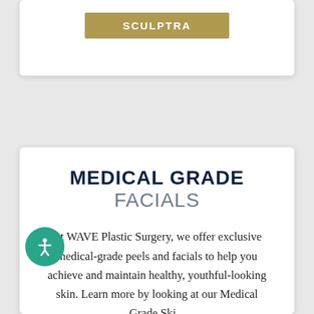[Figure (other): Gold/olive colored button with white bold text reading SCULPTRA on a white card background]
MEDICAL GRADE FACIALS
At WAVE Plastic Surgery, we offer exclusive medical-grade peels and facials to help you achieve and maintain healthy, youthful-looking skin. Learn more by looking at our Medical Grade Ski...